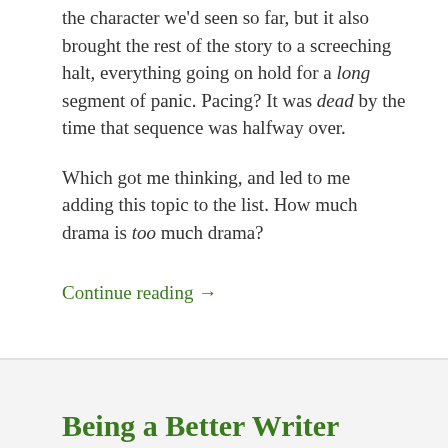the character we'd seen so far, but it also brought the rest of the story to a screeching halt, everything going on hold for a long segment of panic. Pacing? It was dead by the time that sequence was halfway over.
Which got me thinking, and led to me adding this topic to the list. How much drama is too much drama?
Continue reading →
2 Comments
Being a Better Writer